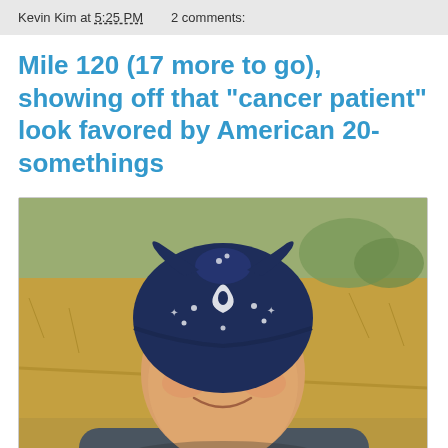Kevin Kim at 5:25 PM   2 comments:
Mile 120 (17 more to go), showing off that "cancer patient" look favored by American 20-somethings
[Figure (photo): A man wearing a dark blue bandana on his head, smiling at the camera, with dry grassland/scrub brush in the background. He is wearing a dark gray t-shirt and has a watch or bracelet on his wrist.]